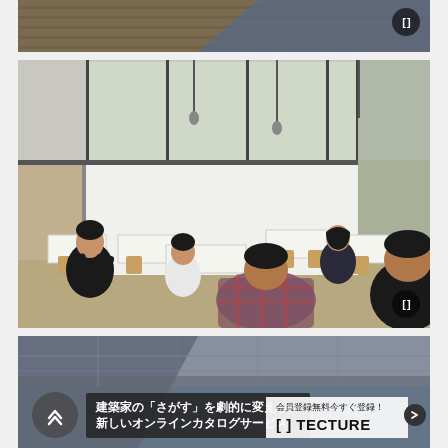[Figure (photo): Partial view of an interior/architectural space, cropped at top — wood ceiling and blue/gray area visible, with a bracket icon overlay in top right corner]
[Figure (photo): Interior photo of a modern cafeteria or dining room with high ceilings, large clerestory windows, pendant lights, white walls, wooden chairs and tables. Several people are seated eating. A bracket icon is in the bottom right corner.]
[Figure (photo): Partial view of a building interior with blue sky visible, diagonal architectural elements. Overlaid at bottom: a back/up navigation button (double chevron up in circle), a dark text box with Japanese text reading '建築家の「さがす」を劇的に変える、新しいオンラインカタログサービス', and a white TECTURE branding panel with '会員登録無料今すぐ登録！' and '[ ] TECTURE' with an arrow button.]